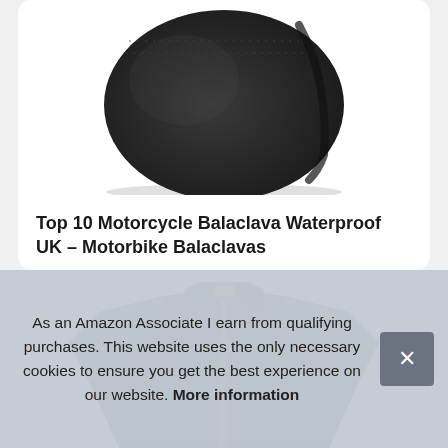[Figure (photo): Top-down partial view of a black motorcycle balaclava/helmet liner on white background]
Top 10 Motorcycle Balaclava Waterproof UK – Motorbike Balaclavas
[Figure (photo): Dark navy/black leather motorcycle jacket with stand-up collar and zip, shot from front on white background]
As an Amazon Associate I earn from qualifying purchases. This website uses the only necessary cookies to ensure you get the best experience on our website. More information